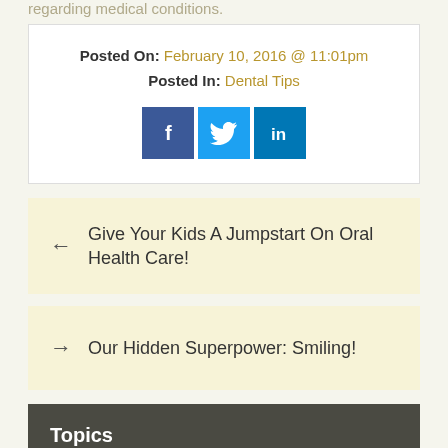regarding medical conditions.
Posted On: February 10, 2016 @ 11:01pm
Posted In: Dental Tips
[Figure (infographic): Social media share buttons: Facebook (blue), Twitter (light blue), LinkedIn (blue)]
← Give Your Kids A Jumpstart On Oral Health Care!
→ Our Hidden Superpower: Smiling!
Topics